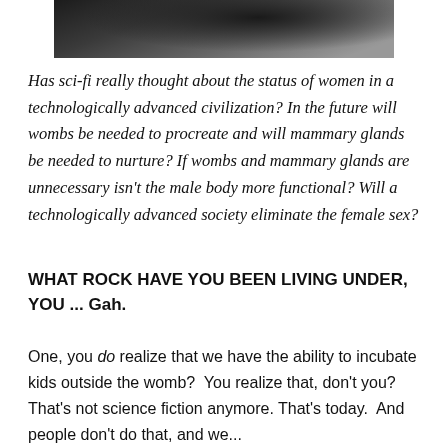[Figure (photo): Partial photo of a person in dark clothing, mostly cropped, showing a dark silhouette against a dark background.]
Has sci-fi really thought about the status of women in a technologically advanced civilization? In the future will wombs be needed to procreate and will mammary glands be needed to nurture? If wombs and mammary glands are unnecessary isn't the male body more functional? Will a technologically advanced society eliminate the female sex?
WHAT ROCK HAVE YOU BEEN LIVING UNDER, YOU ... Gah.
One, you do realize that we have the ability to incubate kids outside the womb?  You realize that, don't you? That's not science fiction anymore. That's today.  And people don't do that, and we...